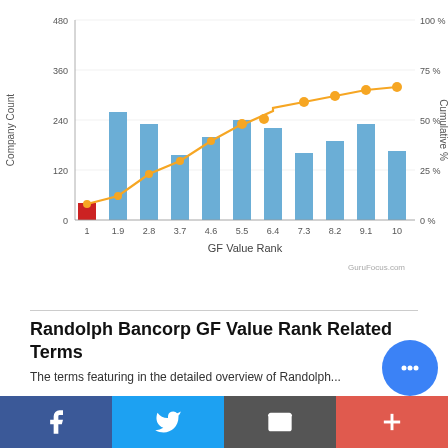[Figure (bar-chart): GF Value Rank Distribution]
Randolph Bancorp GF Value Rank Related Terms
The terms featuring in the detailed overview of Randolph...